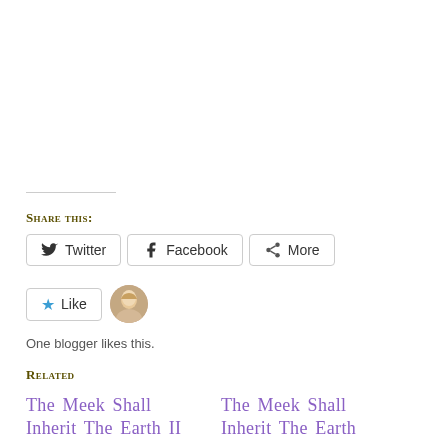Share this:
Twitter   Facebook   More
Like   [avatar]
One blogger likes this.
Related
The Meek Shall Inherit The Earth II
The Meek Shall Inherit The Earth